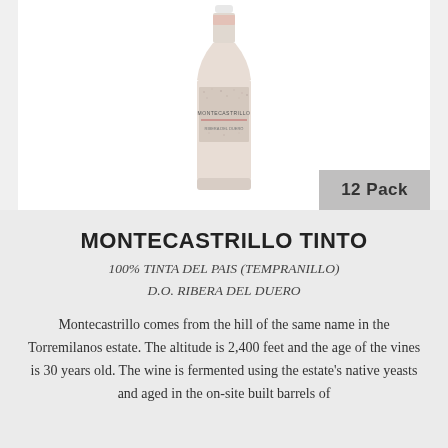[Figure (photo): A wine bottle with a pink/rosé wine, featuring the Montecastrillo label with a sparkly/textured label design]
12 Pack
MONTECASTRILLO TINTO
100% TINTA DEL PAIS (TEMPRANILLO)
D.O. RIBERA DEL DUERO
Montecastrillo comes from the hill of the same name in the Torremilanos estate. The altitude is 2,400 feet and the age of the vines is 30 years old. The wine is fermented using the estate's native yeasts and aged in the on-site built barrels of